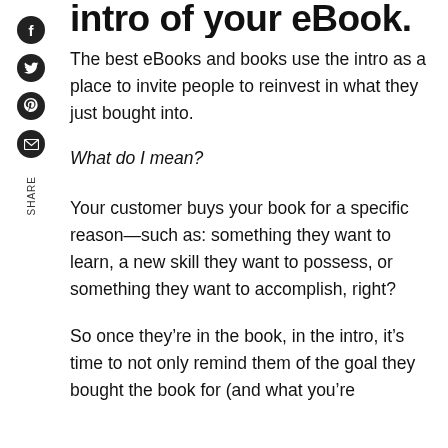intro of your eBook.
The best eBooks and books use the intro as a place to invite people to reinvest in what they just bought into.
What do I mean?
Your customer buys your book for a specific reason—such as: something they want to learn, a new skill they want to possess, or something they want to accomplish, right?
So once they're in the book, in the intro, it's time to not only remind them of the goal they bought the book for (and what you're